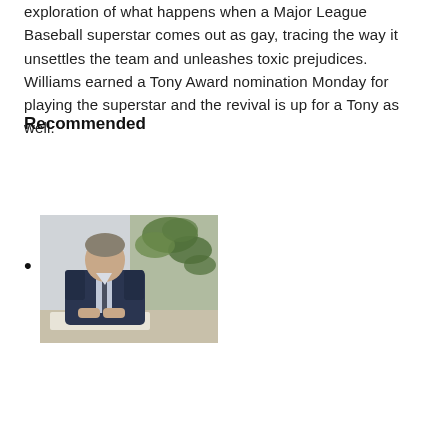exploration of what happens when a Major League Baseball superstar comes out as gay, tracing the way it unsettles the team and unleashes toxic prejudices. Williams earned a Tony Award nomination Monday for playing the superstar and the revival is up for a Tony as well.
Recommended
[Figure (photo): A man in a dark suit sitting at a desk with hands clasped, with green plants in the background.]